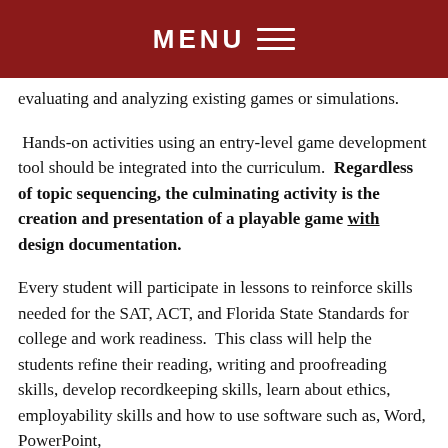MENU
evaluating and analyzing existing games or simulations.
Hands-on activities using an entry-level game development tool should be integrated into the curriculum. Regardless of topic sequencing, the culminating activity is the creation and presentation of a playable game with design documentation.
Every student will participate in lessons to reinforce skills needed for the SAT, ACT, and Florida State Standards for college and work readiness. This class will help the students refine their reading, writing and proofreading skills, develop recordkeeping skills, learn about ethics, employability skills and how to use software such as, Word, PowerPoint,